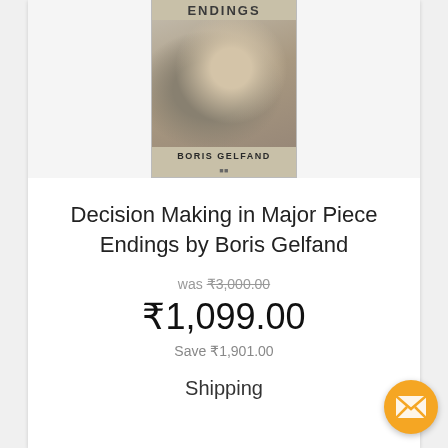[Figure (photo): Book cover of 'Decision Making in Major Piece Endings' by Boris Gelfand, showing a man playing chess, with 'ENDINGS' text at top and 'BORIS GELFAND' at bottom]
Decision Making in Major Piece Endings by Boris Gelfand
was ₹3,000.00
₹1,099.00
Save ₹1,901.00
Shipping